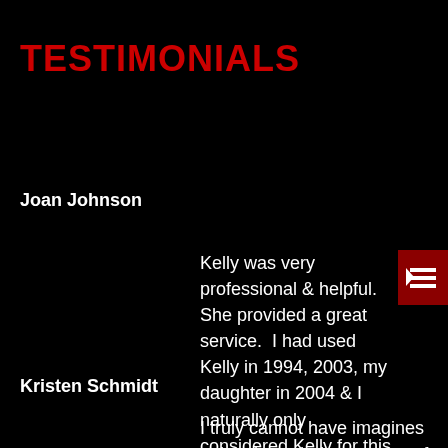TESTIMONIALS
Joan Johnson
Kelly was very professional & helpful.  She provided a great service.  I had used Kelly in 1994, 2003, my daughter in 2004 & I naturally only considered Kelly for this sale.  I highly recommend her.
Kristen Schmidt
I truly cannot have imagines going through the process of